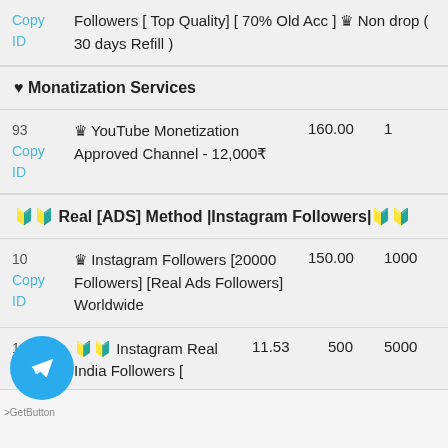Followers [ Top Quality] [ 70% Old Acc ] ♛ Non drop ( 30 days Refill )
♥ Monatization Services
| ID | Description | Price | Min |
| --- | --- | --- | --- |
| 93 Copy ID | ♛ YouTube Monetization Approved Channel - 12,000₹ | 160.00 | 1 |
🔰🔰 Real [ADS] Method |Instagram Followers|🔰🔰
| ID | Description | Price | Min |
| --- | --- | --- | --- |
| 10 Copy ID | ♛ Instagram Followers [20000 Followers] [Real Ads Followers] Worldwide | 150.00 | 1000 |
| 11 Copy | 🔰🔰 Instagram Real India Followers [ | 11.53 | 500 | 5000 |